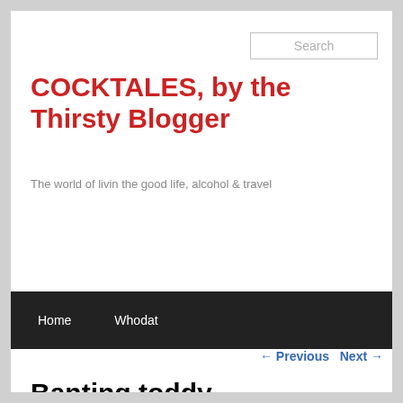Search
COCKTALES, by the Thirsty Blogger
The world of livin the good life, alcohol & travel
Home   Whodat
← Previous   Next →
Banting toddy